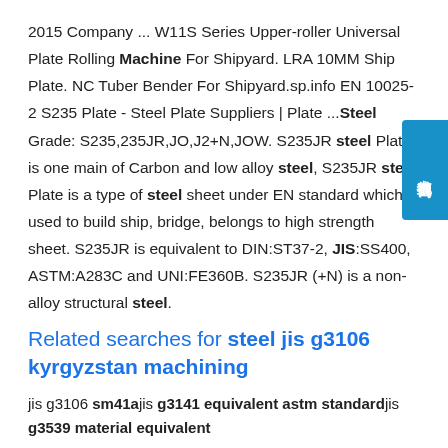2015 Company ... W11S Series Upper-roller Universal Plate Rolling Machine For Shipyard. LRA 10MM Ship Plate. NC Tuber Bender For Shipyard.sp.info EN 10025-2 S235 Plate - Steel Plate Suppliers | Plate ...Steel Grade: S235,235JR,JO,J2+N,JOW. S235JR steel Plate is one main of Carbon and low alloy steel, S235JR steel Plate is a type of steel sheet under EN standard which is used to build ship, bridge, belongs to high strength sheet. S235JR is equivalent to DIN:ST37-2, JIS:SS400, ASTM:A283C and UNI:FE360B. S235JR (+N) is a non-alloy structural steel.
[Figure (other): Blue badge/button with Chinese text '在线咨询' (Online Consultation)]
Related searches for steel jis g3106 kyrgyzstan machining
jis g3106 sm41ajis g3141 equivalent astm standardjis g3539 material equivalent